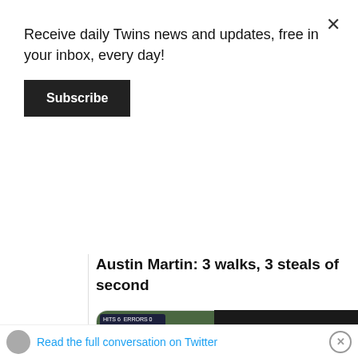Receive daily Twins news and updates, free in your inbox, every day!
Subscribe
Austin Martin: 3 walks, 3 steals of second
[Figure (screenshot): Embedded Twitter video player showing a baseball game with score overlay (HCH 4, MNN 0, Top of 4th, 1 out, 1-1) and a Watch on Twitter button. A video error overlay reads: This video file cannot be played. (Error Code: 2 24003)]
1:08 AM · Apr
Read the full conversation on Twitter